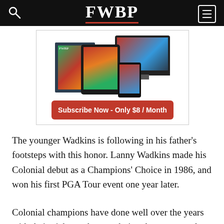FWBP
[Figure (other): Advertisement box showing digital devices (monitor, tablet, phone, magazine) with a red subscribe button reading 'Subscribe Now - Only $8 / Month']
The younger Wadkins is following in his father's footsteps with this honor. Lanny Wadkins made his Colonial debut as a Champions' Choice in 1986, and won his first PGA Tour event one year later.
Colonial champions have done well over the years with their picks, and some choices have returned to